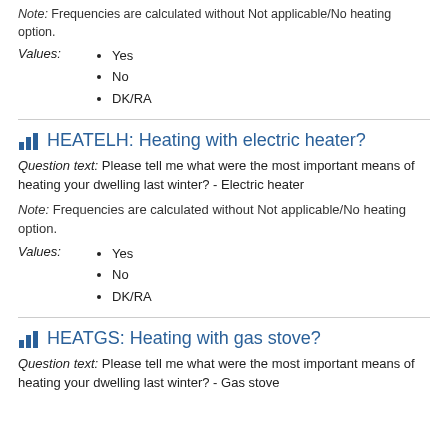Note: Frequencies are calculated without Not applicable/No heating option.
Values:
Yes
No
DK/RA
HEATELH: Heating with electric heater?
Question text: Please tell me what were the most important means of heating your dwelling last winter? - Electric heater
Note: Frequencies are calculated without Not applicable/No heating option.
Values:
Yes
No
DK/RA
HEATGS: Heating with gas stove?
Question text: Please tell me what were the most important means of heating your dwelling last winter? - Gas stove